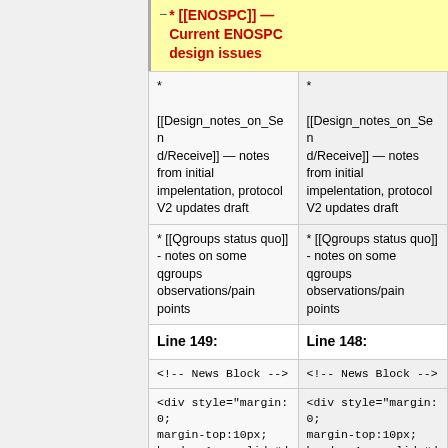* [[ENOSPC]] — Current ENOSPC design issues
|  |  |
| --- | --- |
| *

[[Design_notes_on_Send/Receive]] — notes from initial impelentation, protocol V2 updates draft | *

[[Design_notes_on_Send/Receive]] — notes from initial impelentation, protocol V2 updates draft |
| * [[Qgroups status quo]] - notes on some qgroups observations/pain points | * [[Qgroups status quo]] - notes on some qgroups observations/pain points |
| Line 149: | Line 148: |
| <!-- News Block --> | <!-- News Block --> |
| <div style="margin:0; margin-top:10px; border:1px solid #dfdfdf; padding: 0em 1em 1em 1em; background-color:#f0e0d0; align:left;"> | <div style="margin:0; margin-top:10px; border:1px solid #dfdfdf; padding: 0em 1em 1em 1em; background-color:#f0e0d0; align:left;"> |